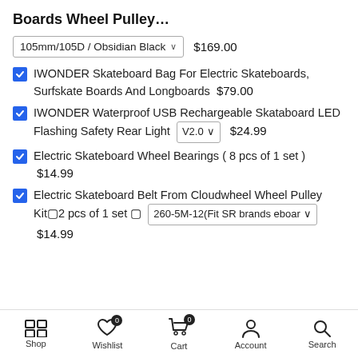Boards Wheel Pulley…
105mm/105D / Obsidian Black [dropdown] $169.00
☑ IWONDER Skateboard Bag For Electric Skateboards, Surfskate Boards And Longboards $79.00
☑ IWONDER Waterproof USB Rechargeable Skataboard LED Flashing Safety Rear Light V2.0 [dropdown] $24.99
☑ Electric Skateboard Wheel Bearings ( 8 pcs of 1 set ) $14.99
☑ Electric Skateboard Belt From Cloudwheel Wheel Pulley Kit□2 pcs of 1 set □ 260-5M-12(Fit SR brands eboar [dropdown] $14.99
Shop | Wishlist 0 | Cart 0 | Account | Search